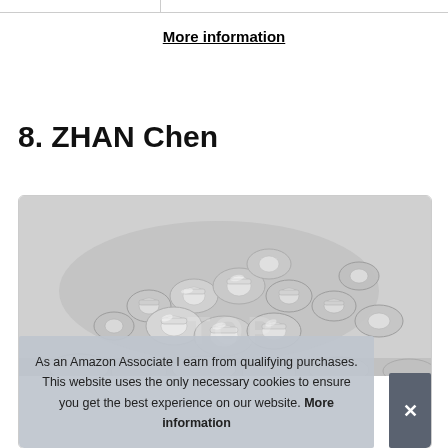More information
8. ZHAN Chen
[Figure (photo): A pile of small silver metallic earring backs / butterfly earring clutches photographed on a white background inside a product card with rounded border.]
As an Amazon Associate I earn from qualifying purchases. This website uses the only necessary cookies to ensure you get the best experience on our website. More information